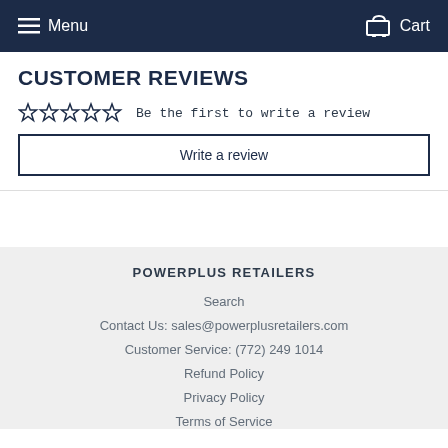Menu   Cart
CUSTOMER REVIEWS
☆☆☆☆☆  Be the first to write a review
Write a review
POWERPLUS RETAILERS
Search
Contact Us: sales@powerplusretailers.com
Customer Service: (772) 249 1014
Refund Policy
Privacy Policy
Terms of Service